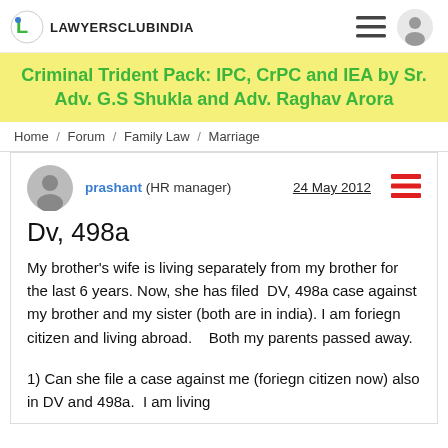LAWYERSCLUBINDIA
Criminal Trident Pack: IPC, CrPC and IEA by Sr. Adv. G.S Shukla and Adv. Raghav Arora
Home / Forum / Family Law / Marriage
Dv, 498a
prashant (HR manager)   24 May 2012
My brother's wife is living separately from my brother for the last 6 years. Now, she has filed  DV, 498a case against my brother and my sister (both are in india). I am foriegn citizen and living abroad.   Both my parents passed away.
1) Can she file a case against me (foriegn citizen now) also in DV and 498a.  I am living